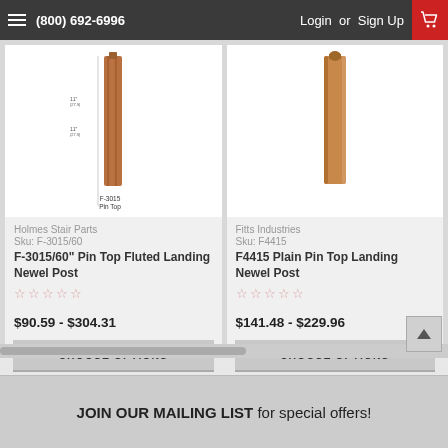(800) 692-6996  Login or Sign Up
[Figure (photo): Product image of F-3015 Pin Top fluted landing newel post, a tall wooden post with fluted design, shown with dimension annotations]
Holmes Stair Parts
Sku: F-3015/60
F-3015/60" Pin Top Fluted Landing Newel Post
$90.59 - $304.31
CHOOSE OPTIONS
[Figure (photo): Product image of F4415 Plain Pin Top landing newel post, a plain wooden post with rounded pin top]
Fitts Industries
Sku: F4415
F4415 Plain Pin Top Landing Newel Post
$141.48 - $229.96
CHOOSE OPTIONS
JOIN OUR MAILING LIST for special offers!